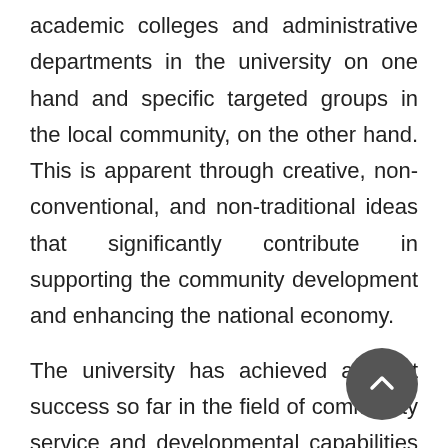academic colleges and administrative departments in the university on one hand and specific targeted groups in the local community, on the other hand. This is apparent through creative, non-conventional, and non-traditional ideas that significantly contribute in supporting the community development and enhancing the national economy.

The university has achieved a great success so far in the field of community service and developmental capabilities by raising the level of sensitization and dissemination of community service culture among its members. Along with this success, those services have generated financial incomes which